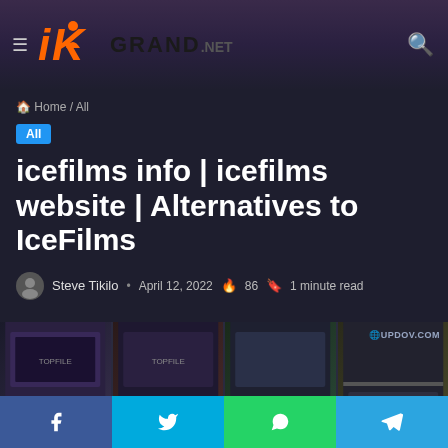iKGRAND.NET
Home / All
All
icefilms info | icefilms website | Alternatives to IceFilms
Steve Tikilo  •  April 12, 2022  🔥 86  🔖 1 minute read
[Figure (screenshot): Blurred screenshot of the icefilms website showing multiple movie thumbnails arranged in a grid layout, with an 'UPDOV.COM' watermark in the top right corner.]